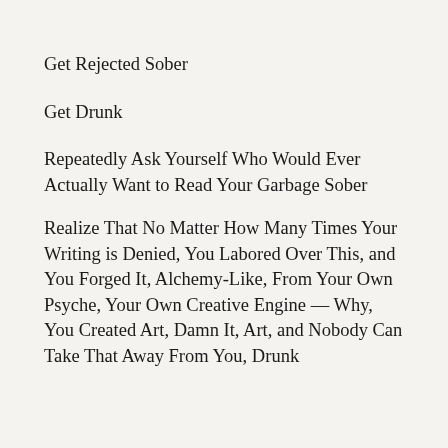Get Rejected Sober
Get Drunk
Repeatedly Ask Yourself Who Would Ever Actually Want to Read Your Garbage Sober
Realize That No Matter How Many Times Your Writing is Denied, You Labored Over This, and You Forged It, Alchemy-Like, From Your Own Psyche, Your Own Creative Engine — Why, You Created Art, Damn It, Art, and Nobody Can Take That Away From You, Drunk